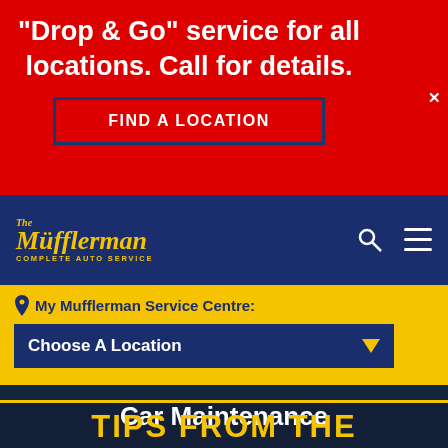"Drop & Go" service for all locations. Call for details.
FIND A LOCATION
[Figure (logo): The Mufflerman Complete Auto Service logo in yellow italic text on dark navy background]
My Mufflerman Service Centre:
Choose A Location
Car Maintenance
TIPS FROM THE MAN